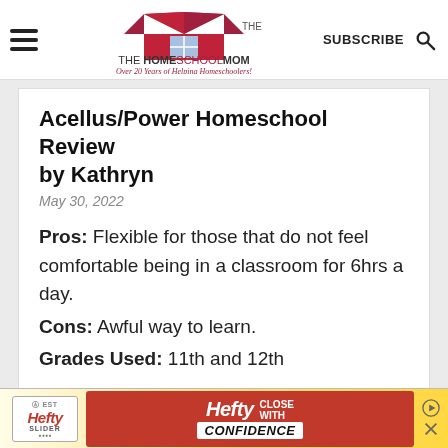THE HOMESCHOOL MOM — Over 20 Years of Helping Homeschoolers! | SUBSCRIBE
Acellus/Power Homeschool Review by Kathryn
May 30, 2022
Pros: Flexible for those that do not feel comfortable being in a classroom for 6hrs a day.
Cons: Awful way to learn.
Grades Used: 11th and 12th
Acellus has absolutely ruined my life. The whole concept of not
[Figure (screenshot): Hefty Slider advertisement banner at bottom of page showing Hefty brand logo and 'CLOSE WITH CONFIDENCE' tagline]